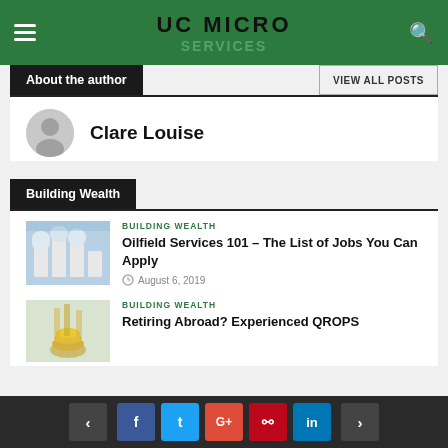UC MICRO
About the author
VIEW ALL POSTS
Clare Louise
Building Wealth
BUILDING WEALTH
Oilfield Services 101 – The List of Jobs You Can Apply
August 6, 2019
BUILDING WEALTH
Retiring Abroad? Experienced QROPS
< f t G+ p in >